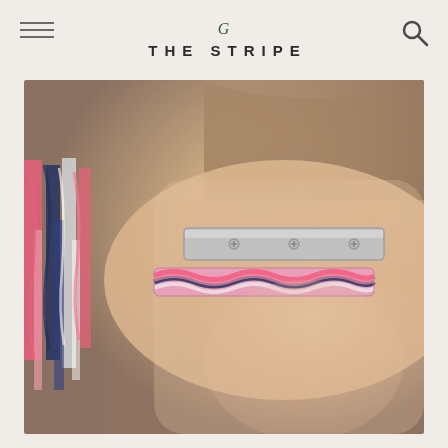THE STRIPE
[Figure (photo): Close-up photo of a wrist wearing two bracelets: a silver Cartier Love bangle on top and a braided friendship bracelet in pink, navy, and white below. Colorful threads/strings are visible in the background on the left side.]